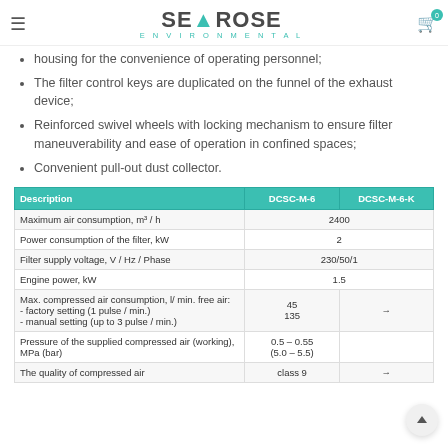SEAROSE ENVIRONMENTAL
housing for the convenience of operating personnel;
The filter control keys are duplicated on the funnel of the exhaust device;
Reinforced swivel wheels with locking mechanism to ensure filter maneuverability and ease of operation in confined spaces;
Convenient pull-out dust collector.
| Description | DCSC-M-6 | DCSC-M-6-K |
| --- | --- | --- |
| Maximum air consumption, m³ / h | 2400 | 2400 |
| Power consumption of the filter, kW | 2 | 2 |
| Filter supply voltage, V / Hz / Phase | 230/50/1 | 230/50/1 |
| Engine power, kW | 1.5 | 1.5 |
| Max. compressed air consumption, l/ min. free air:
- factory setting (1 pulse / min.)
- manual setting (up to 3 pulse / min.) | 45
135 | → |
| Pressure of the supplied compressed air (working), MPa (bar) | 0.5 – 0.55
(5.0 – 5.5) |  |
| The quality of compressed air | class 9 | → |